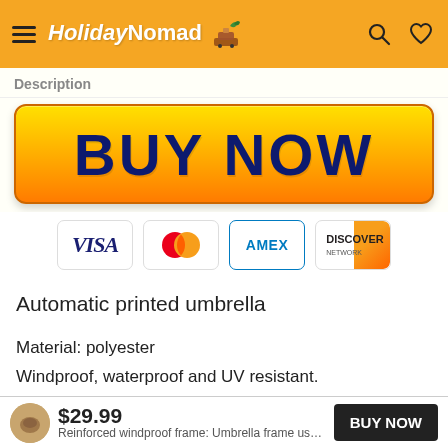HolidayNomad [logo]
Description
[Figure (other): Large orange 'BUY NOW' button with dark blue bold text on gradient orange/yellow background]
[Figure (other): Payment method icons: VISA, MasterCard, AMEX, DISCOVER NETWORK]
Automatic printed umbrella
Material: polyester
Windproof, waterproof and UV resistant.
$29.99  BUY NOW  Reinforced windproof frame: Umbrella frame uses 8 ...